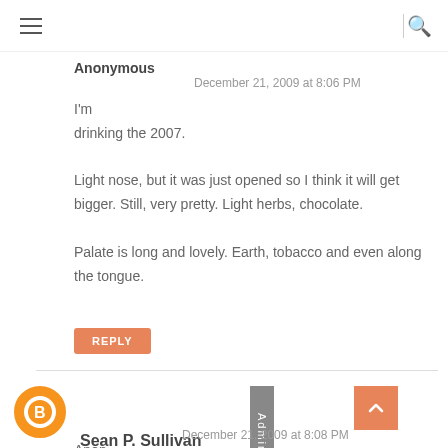Anonymous
December 21, 2009 at 8:06 PM
I'm drinking the 2007.
Light nose, but it was just opened so I think it will get bigger. Still, very pretty. Light herbs, chocolate.
Palate is long and lovely. Earth, tobacco and even along the tongue.
REPLY
Sean P. Sullivan
December 21, 2009 at 8:08 PM
Anon